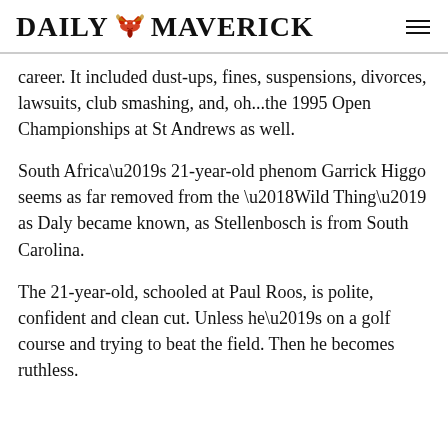DAILY MAVERICK
career. It included dust-ups, fines, suspensions, divorces, lawsuits, club smashing, and, oh...the 1995 Open Championships at St Andrews as well.
South Africa’s 21-year-old phenom Garrick Higgo seems as far removed from the ‘Wild Thing’ as Daly became known, as Stellenbosch is from South Carolina.
The 21-year-old, schooled at Paul Roos, is polite, confident and clean cut. Unless he’s on a golf course and trying to beat the field. Then he becomes ruthless.